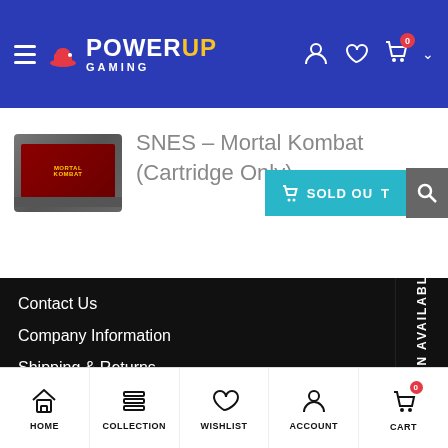PowerUp Gaming - navigation header
SNES – Mortal Kombat (Cartridge Only)
[Figure (screenshot): SOLD OUT button in cyan/teal color with shopping cart icon]
Contact Us
Company Information
Shipping & Returns
Compatibility Information
Trade-In/Sell Your Games
Privacy Policy
Terms of Service
HOME | COLLECTION | WISHLIST | ACCOUNT | CART